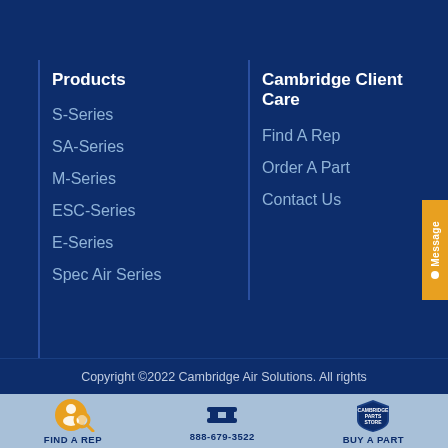Products
S-Series
SA-Series
M-Series
ESC-Series
E-Series
Spec Air Series
Cambridge Client Care
Find A Rep
Order A Part
Contact Us
Copyright ©2022 Cambridge Air Solutions. All rights
FIND A REP
888-679-3522
BUY A PART